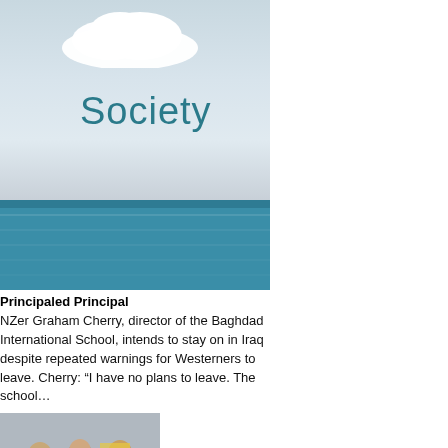[Figure (photo): Book or magazine cover image showing 'Society' text over a seascape with clouds and blue water]
Principaled Principal
NZer Graham Cherry, director of the Baghdad International School, intends to stay on in Iraq despite repeated warnings for Westerners to leave. Cherry: “I have no plans to leave. The school…
[Figure (photo): Group of people at what appears to be a protest or gathering outdoors]